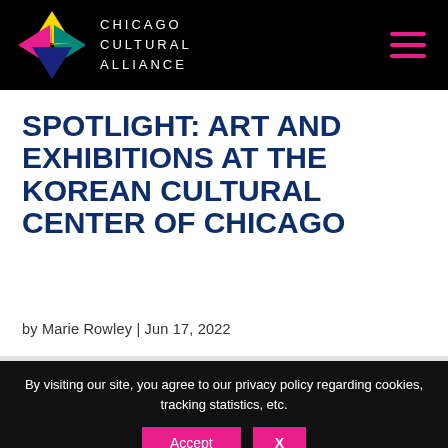CHICAGO CULTURAL ALLIANCE
SPOTLIGHT: ART AND EXHIBITIONS AT THE KOREAN CULTURAL CENTER OF CHICAGO
by Marie Rowley | Jun 17, 2022
By visiting our site, you agree to our privacy policy regarding cookies, tracking statistics, etc.